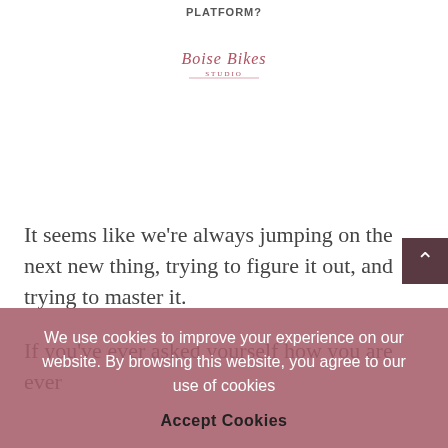Platform?
[Figure (logo): Decorative script logo for a brand, appears to read 'Boise Bikes' or similar in rose/pink cursive lettering]
It seems like we're always jumping on the next new thing, trying to figure it out, and trying to master it.
If you've ever asked yourself how you are ever
We use cookies to improve your experience on our website. By browsing this website, you agree to our use of cookies
Accept Cookies